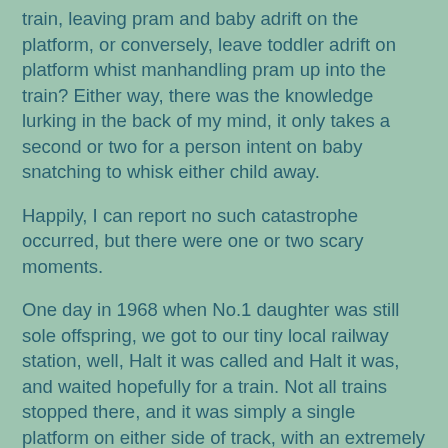train, leaving pram and baby adrift on the platform, or conversely, leave toddler adrift on platform whist manhandling pram up into the train? Either way, there was the knowledge lurking in the back of my mind, it only takes a second or two for a person intent on baby snatching to whisk either child away.
Happily, I can report no such catastrophe occurred, but there were one or two scary moments.
One day in 1968 when No.1 daughter was still sole offspring, we got to our tiny local railway station, well, Halt it was called and Halt it was, and waited hopefully for a train. Not all trains stopped there, and it was simply a single platform on either side of track, with an extremely basic shelter open to the elements. Eventually, in its own good time, up lumbered the train.
Now, the Chariot, as I christened the pram/pushchair , was quite easy to put into a carriage, as opposed to the luggage van, as long as there were no passengers already seated. In my haste to get aboard, I failed to realise the far side of the